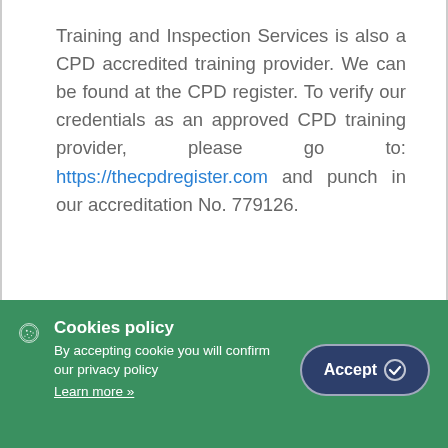Training and Inspection Services is also a CPD accredited training provider. We can be found at the CPD register. To verify our credentials as an approved CPD training provider, please go to: https://thecpdregister.com and punch in our accreditation No. 779126.
Cookies policy
By accepting cookie you will confirm our privacy policy
Learn more »